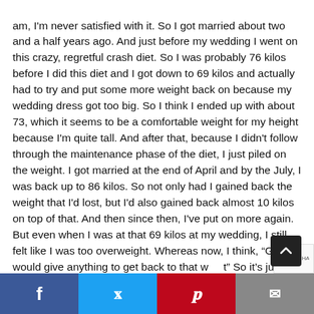am, I'm never satisfied with it. So I got married about two and a half years ago. And just before my wedding I went on this crazy, regretful crash diet. So I was probably 76 kilos before I did this diet and I got down to 69 kilos and actually had to try and put some more weight back on because my wedding dress got too big. So I think I ended up with about 73, which it seems to be a comfortable weight for my height because I'm quite tall. And after that, because I didn't follow through the maintenance phase of the diet, I just piled on the weight. I got married at the end of April and by the July, I was back up to 86 kilos. So not only had I gained back the weight that I'd lost, but I'd also gained back almost 10 kilos on top of that. And then since then, I've put on more again. But even when I was at that 69 kilos at my wedding, I still felt like I was too overweight. Whereas now, I think, "God, I would give anything to get back to that w t" So it's just like I'm never satisfied even when I am at a l
Social share bar: Facebook, Twitter, Pinterest, Email